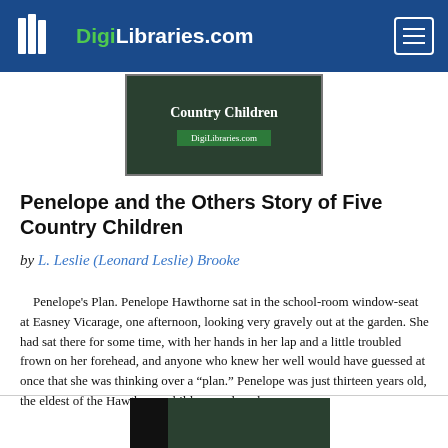DigiLibraries.com
[Figure (other): Book cover thumbnail showing 'Country Children' and DigiLibraries.com branding on a dark green background]
Penelope and the Others Story of Five Country Children
by L. Leslie (Leonard Leslie) Brooke
Penelope’s Plan. Penelope Hawthorne sat in the school-room window-seat at Easney Vicarage, one afternoon, looking very gravely out at the garden. She had sat there for some time, with her hands in her lap and a little troubled frown on her forehead, and anyone who knew her well would have guessed at once that she was thinking over a “plan.” Penelope was just thirteen years old, the eldest of the Hawthorne children, and as she... more...
[Figure (other): Partial book cover at bottom of page, partially cropped]